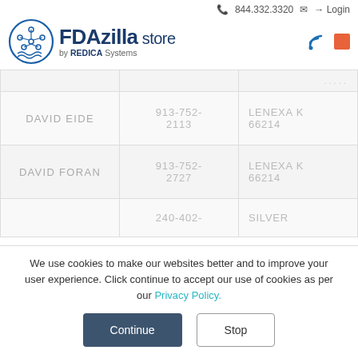📞 844.332.3320 ✉ → Login
[Figure (logo): FDAzilla store by REDICA Systems logo with circular emblem]
| Name | Phone | Location |
| --- | --- | --- |
|  |  | ... |
| DAVID EIDE | 913-752-2113 | LENEXA K... 66214 |
| DAVID FORAN | 913-752-2727 | LENEXA K... 66214 |
|  | 240-402- | SILVER ... |
We use cookies to make our websites better and to improve your user experience. Click continue to accept our use of cookies as per our Privacy Policy.